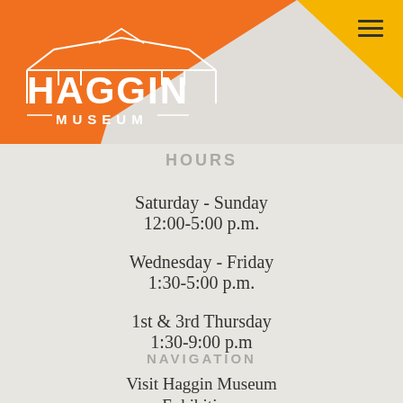[Figure (logo): Haggin Museum logo in white on orange background with triangular orange and yellow geometric header design]
HOURS
Saturday - Sunday
12:00-5:00 p.m.
Wednesday - Friday
1:30-5:00 p.m.
1st & 3rd Thursday
1:30-9:00 p.m
NAVIGATION
Visit Haggin Museum
Exhibitions